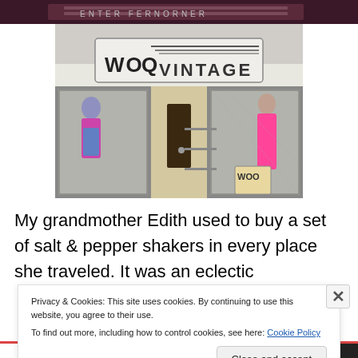[Figure (photo): Top strip of a photo showing a storefront with decorative facade, partially visible.]
[Figure (photo): Exterior photo of Woo Vintage clothing store. The storefront has an art deco sign reading 'WOO VINTAGE'. The open entrance doors reveal mannequins wearing vintage clothing including a bright pink dress on the right and a patterned dress on the left. A sandwich board sign is visible near the door.]
My grandmother Edith used to buy a set of salt & pepper shakers in every place she traveled. It was an eclectic
Privacy & Cookies: This site uses cookies. By continuing to use this website, you agree to their use.
To find out more, including how to control cookies, see here: Cookie Policy
Close and accept